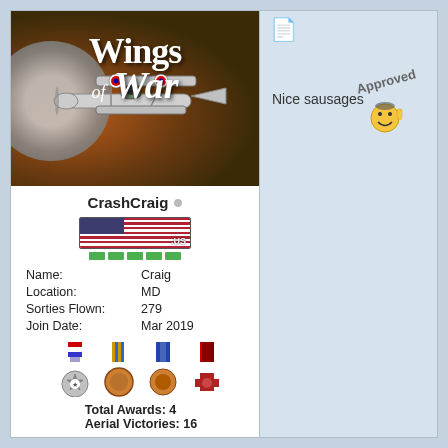[Figure (screenshot): Wings of War game banner with biplane and circular target markings]
CrashCraig ○
[Figure (illustration): US flag badge with .US text and green reputation bars below]
Name: Craig
Location: MD
Sorties Flown: 279
Join Date: Mar 2019
[Figure (illustration): Four military medals/awards displayed in a row]
Total Awards: 4
Aerial Victories: 16
[Figure (illustration): Document/note icon in top right of right panel]
[Figure (illustration): Approved stamp emoji with thumbs up smiley]
Nice sausages